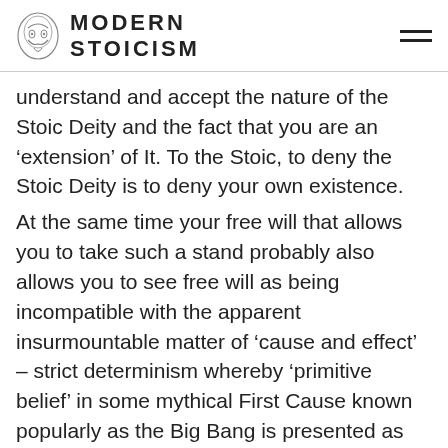MODERN STOICISM
understand and accept the nature of the Stoic Deity and the fact that you are an ‘extension’ of It. To the Stoic, to deny the Stoic Deity is to deny your own existence.
At the same time your free will that allows you to take such a stand probably also allows you to see free will as being incompatible with the apparent insurmountable matter of ‘cause and effect’ – strict determinism whereby ‘primitive belief’ in some mythical First Cause known popularly as the Big Bang is presented as being some imagined creation point that set the Cosmos off as if it were a mechanical clock. Modern science has shown that even this strict determinism is a failed concept. Following the logic of the Stoic ideas, it is seen that Stoicism offers soft determinism whereby what is